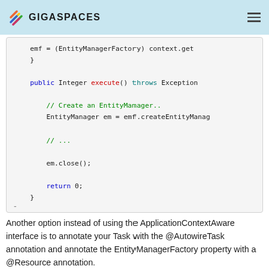GIGASPACES
[Figure (screenshot): Code block showing Java method with emf variable assignment, public Integer execute() method with EntityManager creation, em.close(), and return 0 statements]
Another option instead of using the ApplicationContextAware interface is to annotate your Task with the @AutowireTask annotation and annotate the EntityManagerFactory property with a @Resource annotation.